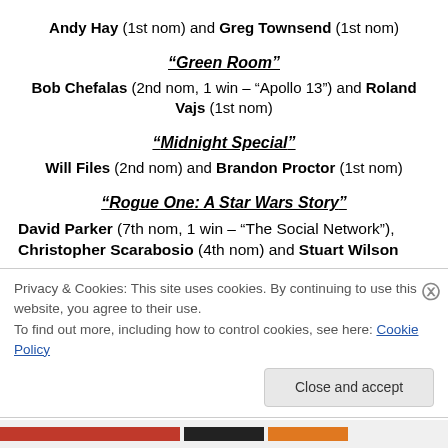Andy Hay (1st nom) and Greg Townsend (1st nom)
“Green Room”
Bob Chefalas (2nd nom, 1 win – “Apollo 13”) and Roland Vajs (1st nom)
“Midnight Special”
Will Files (2nd nom) and Brandon Proctor (1st nom)
“Rogue One: A Star Wars Story”
David Parker (7th nom, 1 win – “The Social Network”), Christopher Scarabosio (4th nom) and Stuart Wilson
Privacy & Cookies: This site uses cookies. By continuing to use this website, you agree to their use.
To find out more, including how to control cookies, see here: Cookie Policy
Close and accept